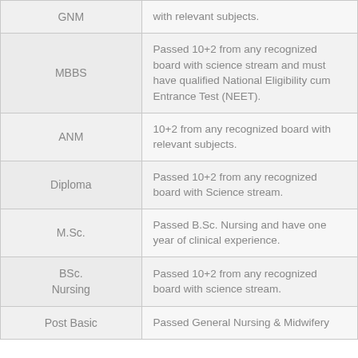| Course | Eligibility |
| --- | --- |
| GNM | ...with relevant subjects. |
| MBBS | Passed 10+2 from any recognized board with science stream and must have qualified National Eligibility cum Entrance Test (NEET). |
| ANM | 10+2 from any recognized board with relevant subjects. |
| Diploma | Passed 10+2 from any recognized board with Science stream. |
| M.Sc. | Passed B.Sc. Nursing and have one year of clinical experience. |
| BSc. Nursing | Passed 10+2 from any recognized board with science stream. |
| Post Basic | Passed General Nursing & Midwifery |